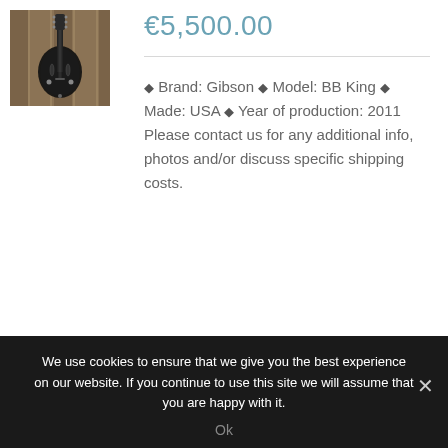[Figure (photo): Black Gibson BB King semi-hollow electric guitar hanging on a wooden wall display]
€5,500.00
◆ Brand: Gibson ◆ Model: BB King ◆ Made: USA ◆ Year of production: 2011 Please contact us for any additional info, photos and/or discuss specific shipping costs.
We use cookies to ensure that we give you the best experience on our website. If you continue to use this site we will assume that you are happy with it.
Ok